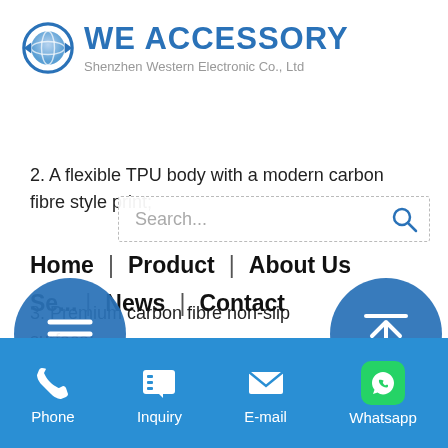[Figure (logo): WE ACCESSORY logo with blue eye/globe icon, company name 'WE ACCESSORY' in blue bold text, subtitle 'Shenzhen Western Electronic Co., Ltd' in gray]
2. A flexible TPU body with a modern carbon fibre style print;
[Figure (screenshot): Search bar overlay with 'Search...' placeholder text and magnifying glass icon]
Home | Product | About Us
Se... | News | Contact
[Figure (infographic): Blue circle hamburger menu button on left and blue circle back-to-top arrow button on right]
3. Premium carbon fibre non-slip surface;
4.inely thin and lightweight;
5. Tactile buttons;
Phone | Inquiry | E-mail | Whatsapp